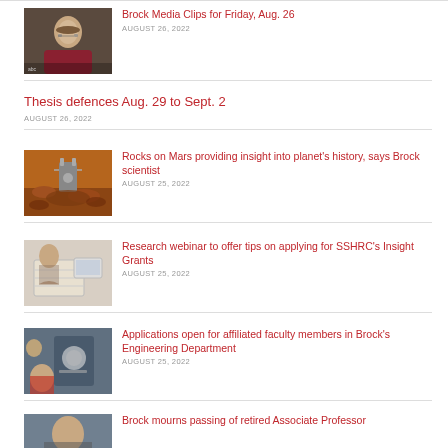[Figure (photo): Older woman with glasses, blurred background]
Brock Media Clips for Friday, Aug. 26
AUGUST 26, 2022
Thesis defences Aug. 29 to Sept. 2
AUGUST 26, 2022
[Figure (photo): Mars rover on rocky terrain]
Rocks on Mars providing insight into planet's history, says Brock scientist
AUGUST 25, 2022
[Figure (photo): Person writing in notebook with laptop]
Research webinar to offer tips on applying for SSHRC's Insight Grants
AUGUST 25, 2022
[Figure (photo): Students working on engineering equipment]
Applications open for affiliated faculty members in Brock's Engineering Department
AUGUST 25, 2022
[Figure (photo): Partial image of person, cropped at bottom]
Brock mourns passing of retired Associate Professor